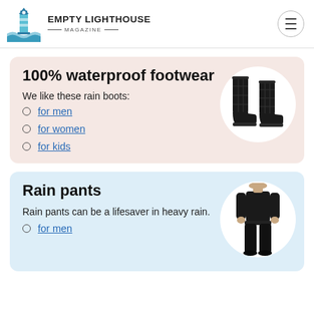EMPTY LIGHTHOUSE MAGAZINE
100% waterproof footwear
We like these rain boots:
for men
for women
for kids
[Figure (photo): Black quilted rain boots]
Rain pants
Rain pants can be a lifesaver in heavy rain.
for men
[Figure (photo): Person wearing black rain pants]